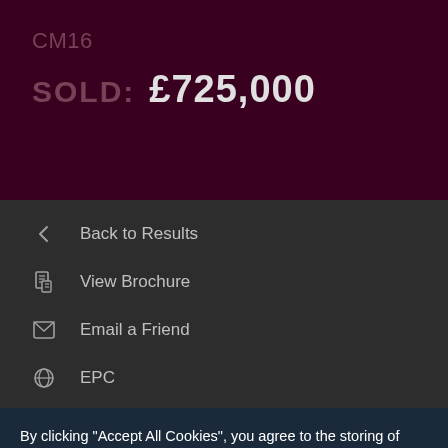CM16
SOLD: £725,000
Back to Results
View Brochure
Email a Friend
EPC
Stamp Duty
By clicking "Accept All Cookies", you agree to the storing of cookies on your device to enhance site analytics and advertising efforts.
Cookie Settings
Accept All Cookies